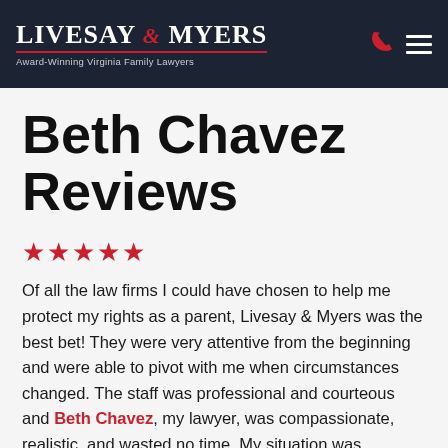Livesay & Myers — Award-Winning Virginia Family Lawyers
Beth Chavez Reviews
★★★★★
Of all the law firms I could have chosen to help me protect my rights as a parent, Livesay & Myers was the best bet! They were very attentive from the beginning and were able to pivot with me when circumstances changed. The staff was professional and courteous and Beth Chavez, my lawyer, was compassionate, realistic, and wasted no time. My situation was resolved within a few weeks and I'm 100% satisfied. If I were to